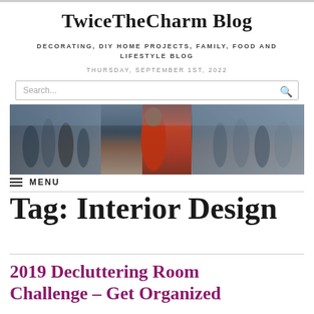TwiceTheCharm Blog
DECORATING, DIY HOME PROJECTS, FAMILY, FOOD AND LIFESTYLE BLOG
THURSDAY, SEPTEMBER 1ST, 2022
Search...
[Figure (photo): A woman in a red jacket walking outdoors in a crowd of people on a city street]
MENU
Tag: Interior Design
2019 Decluttering Room Challenge – Get Organized